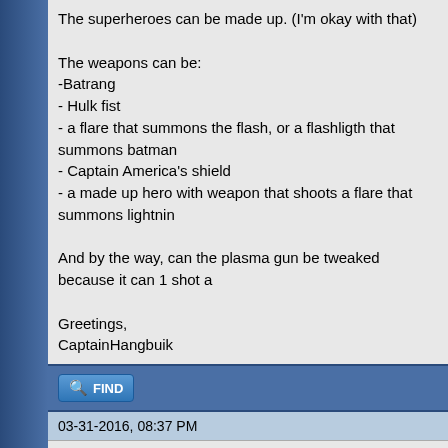The superheroes can be made up. (I'm okay with that)
The weapons can be:
-Batrang
- Hulk fist
- a flare that summons the flash, or a flashligth that summons batman
- Captain America's shield
- a made up hero with weapon that shoots a flare that summons lightnin
And by the way, can the plasma gun be tweaked because it can 1 shot a
Greetings,
CaptainHangbuik
FIND
03-31-2016, 08:37 PM
[F†i™] Extra_point
Banned
RE: Superhero shell + weapon
My option sounds bad